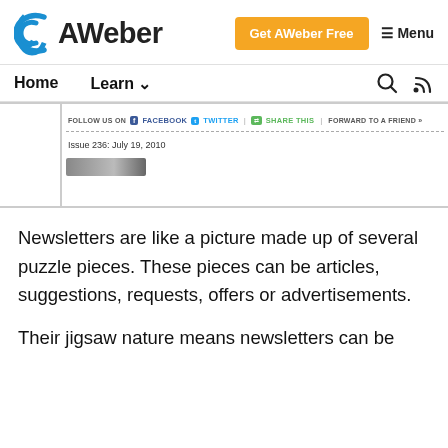AWeber — Get AWeber Free | Menu
Home | Learn
[Figure (screenshot): AWeber newsletter screenshot showing social share bar with FOLLOW US ON FACEBOOK | TWITTER | SHARE THIS | FORWARD TO A FRIEND > and Issue 236: July 19, 2010]
Newsletters are like a picture made up of several puzzle pieces. These pieces can be articles, suggestions, requests, offers or advertisements.
Their jigsaw nature means newsletters can be